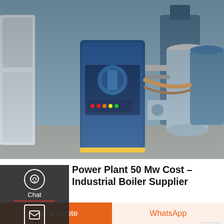[Figure (photo): Industrial boiler room with a large blue CHP/industrial boiler unit, burner assembly, and associated piping and equipment]
Power Plant 50 Mw Cost – Industrial Boiler Supplier
Sep 16, 2015 · A Turboden 5.5-MW CHP plant will be installed at a sawmill and pellet factory in Russia with the Spanish general contractor Prodesa Medioambiente, specialized in the supply of key solutions for pellet production. In this project, bark and branches will feed a thermal oil boiler, coupled with the Turboden ORC unit.